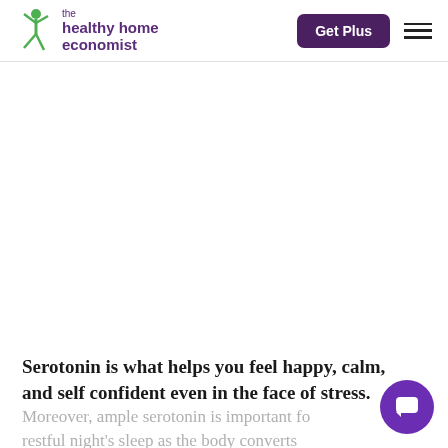the healthy home economist | Get Plus
[Figure (other): Large white/blank content area where an image would appear]
Serotonin is what helps you feel happy, calm, and self confident even in the face of stress.
Moreover, ample serotonin is important fo restful night's sleep as the body converts